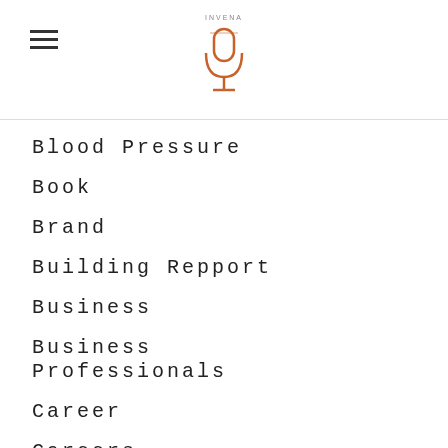[Figure (logo): Microphone icon logo with text above it in orange/brown color, with hamburger menu icon on the left]
Blood Pressure
Book
Brand
Building Repport
Business
Business Professionals
Career
Careers
Caring
Carole Copeland Thomas